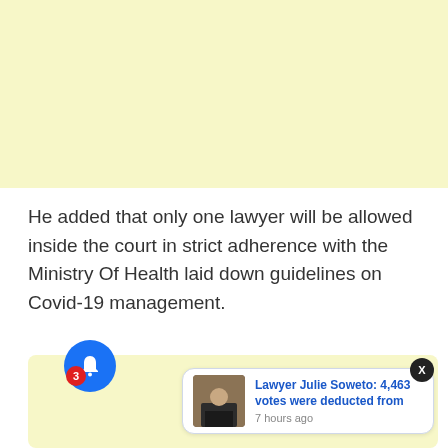[Figure (other): Light yellow advertisement banner placeholder at top of page]
He added that only one lawyer will be allowed inside the court in strict adherence with the Ministry Of Health laid down guidelines on Covid-19 management.
[Figure (screenshot): Notification widget showing a push notification card with image of a lawyer and text 'Lawyer Julie Soweto: 4,463 votes were deducted from' with timestamp '7 hours ago'. A blue bell icon with red badge showing '3' is on the left. An X close button is in the top right corner.]